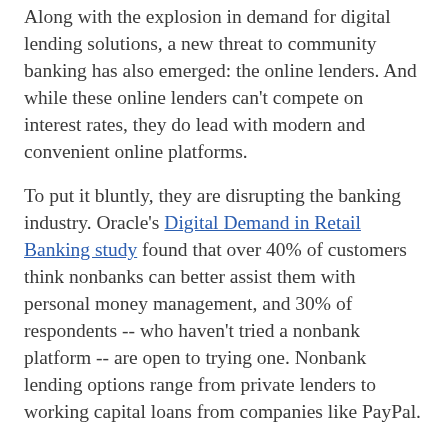Along with the explosion in demand for digital lending solutions, a new threat to community banking has also emerged: the online lenders. And while these online lenders can't compete on interest rates, they do lead with modern and convenient online platforms.
To put it bluntly, they are disrupting the banking industry. Oracle's Digital Demand in Retail Banking study found that over 40% of customers think nonbanks can better assist them with personal money management, and 30% of respondents -- who haven't tried a nonbank platform -- are open to trying one. Nonbank lending options range from private lenders to working capital loans from companies like PayPal.
Without a doubt, community financial institutions still far exceed their online lender competitors when it comes to service and support for their borrowers. If they rise to the same level of digital savviness, they